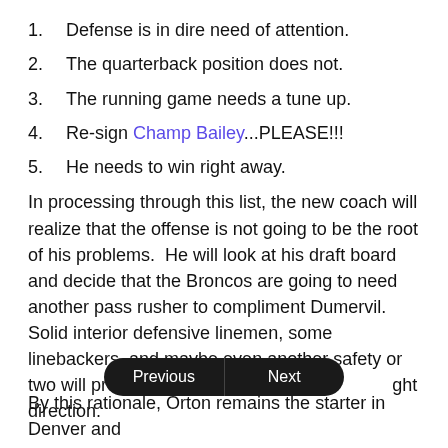1.   Defense is in dire need of attention.
2.   The quarterback position does not.
3.   The running game needs a tune up.
4.   Re-sign Champ Bailey...PLEASE!!!
5.   He needs to win right away.
In processing through this list, the new coach will realize that the offense is not going to be the root of his problems.  He will look at his draft board and decide that the Broncos are going to need another pass rusher to compliment Dumervil. Solid interior defensive linemen, some linebackers, and maybe even another safety or two will probably get the team moving in the right direction.
By this rationale, Orton remains the starter in Denver and